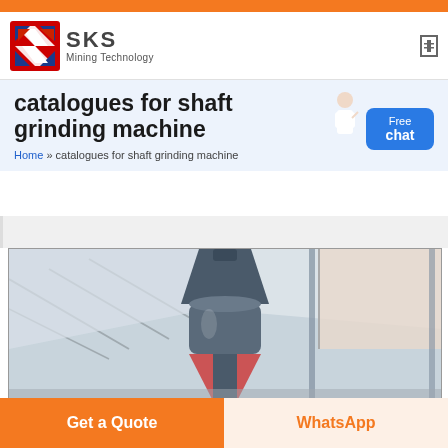[Figure (logo): SKS Mining Technology logo with red/blue angular S-shaped icon and company name text]
catalogues for shaft grinding machine
Home » catalogues for shaft grinding machine
[Figure (photo): Industrial grinding machine inside a factory/warehouse with metal roof structure visible]
Get a Quote
WhatsApp